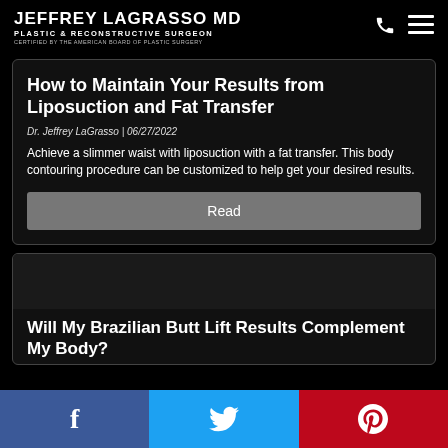JEFFREY LAGRASSO MD | PLASTIC & RECONSTRUCTIVE SURGEON | CERTIFIED BY THE AMERICAN BOARD OF PLASTIC SURGERY
How to Maintain Your Results from Liposuction and Fat Transfer
Dr. Jeffrey LaGrasso | 06/27/2022
Achieve a slimmer waist with liposuction with a fat transfer. This body contouring procedure can be customized to help get your desired results.
Read
Will My Brazilian Butt Lift Results Complement My Body?
Facebook | Twitter | Pinterest